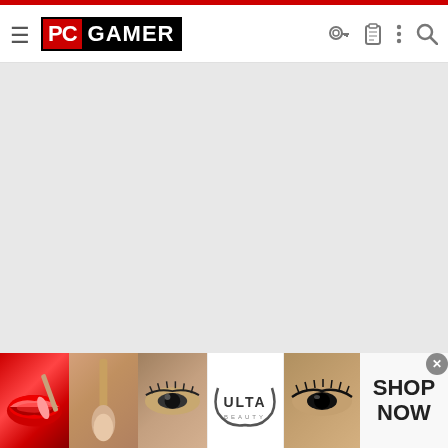PC GAMER navigation bar with hamburger menu, PC GAMER logo, and icons (key, clipboard, more, search)
[Figure (screenshot): Large blank/white advertisement content area below the navigation bar]
J
PandaPandaPanda
Apr 21, 2020   3   2   15
[Figure (photo): Advertisement banner showing beauty/makeup images and Ulta Beauty logo with SHOP NOW button]